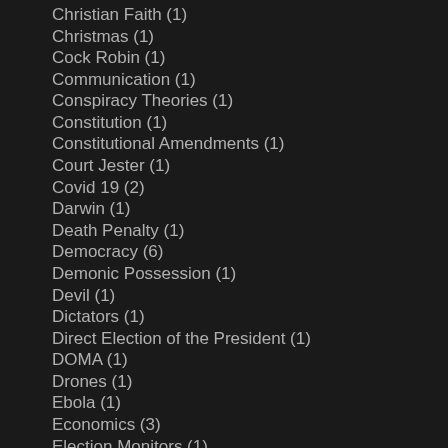Christian Faith (1)
Christmas (1)
Cock Robin (1)
Communication (1)
Conspiracy Theories (1)
Constitution (1)
Constitutional Amendments (1)
Court Jester (1)
Covid 19 (2)
Darwin (1)
Death Penalty (1)
Democracy (6)
Demonic Possession (1)
Devil (1)
Dictators (1)
Direct Election of the President (1)
DOMA (1)
Drones (1)
Ebola (1)
Economics (3)
Election Monitors (1)
Elections (3)
Electoral College (1)
Entitlement (1)
Equal Pay for Equal Work (1)